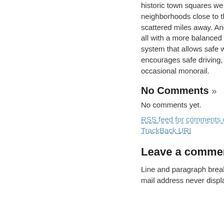historic town squares we love and create neighborhoods close to them, not scattered miles away. And you connect it all with a more balanced transportation system that allows safe walking and encourages safe driving, and perhaps the occasional monorail.
No Comments »
No comments yet.
RSS feed for comments on this post. TrackBack URI
Leave a comment
Line and paragraph breaks automatic, e-mail address never displayed, HTML